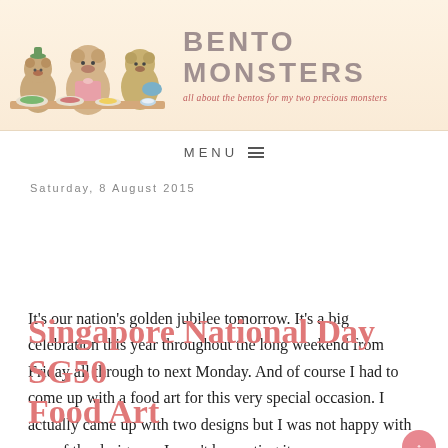[Figure (illustration): Bento Monsters blog header banner with cartoon bear characters preparing bento food, site title BENTO MONSTERS and subtitle 'all about the bentos for my two precious monsters']
MENU ≡
Saturday, 8 August 2015
Singapore National Day SG50 Food Art
It's our nation's golden jubilee tomorrow. It's a big celebration this year throughout the long weekend from Friday all through to next Monday. And of course I had to come up with a food art for this very special occasion. I actually came up with two designs but I was not happy with one of the design, so I won't be posting it.